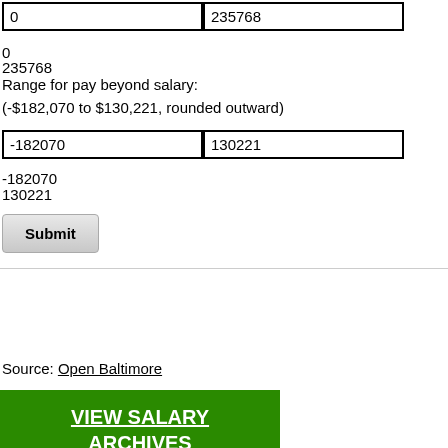[Figure (screenshot): Two input form fields side-by-side: left field shows '0', right field shows '235768']
0
235768
Range for pay beyond salary:
(-$182,070 to $130,221, rounded outward)
[Figure (screenshot): Two input form fields side-by-side: left field shows '-182070', right field shows '130221']
-182070
130221
[Figure (screenshot): Submit button]
Source: Open Baltimore
VIEW SALARY ARCHIVES